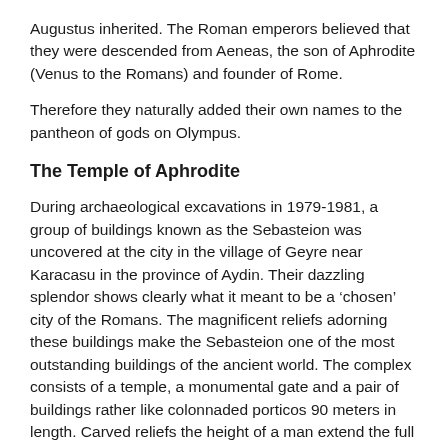Augustus inherited. The Roman emperors believed that they were descended from Aeneas, the son of Aphrodite (Venus to the Romans) and founder of Rome.
Therefore they naturally added their own names to the pantheon of gods on Olympus.
The Temple of Aphrodite
During archaeological excavations in 1979-1981, a group of buildings known as the Sebasteion was uncovered at the city in the village of Geyre near Karacasu in the province of Aydin. Their dazzling splendor shows clearly what it meant to be a ‘chosen’ city of the Romans. The magnificent reliefs adorning these buildings make the Sebasteion one of the most outstanding buildings of the ancient world. The complex consists of a temple, a monumental gate and a pair of buildings rather like colonnaded porticos 90 meters in length. Carved reliefs the height of a man extend the full length of these long narrow buildings, depicting the imperial world of Augustus, each conquered land and nation symbolized by a female figure, together with mythological figures, Greek gods, and emperors crowned with victory and divine authority. The two hundred reliefs are remarkable both as works of art and